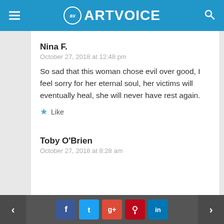ARTVOICE
Nina F.
October 27, 2018 at 12:48 pm
So sad that this woman chose evil over good, I feel sorry for her eternal soul, her victims will eventually heal, she will never have rest again.
Like
Toby O'Brien
October 27, 2018 at 8:28 am
< facebook twitter google+ pinterest linkedin >